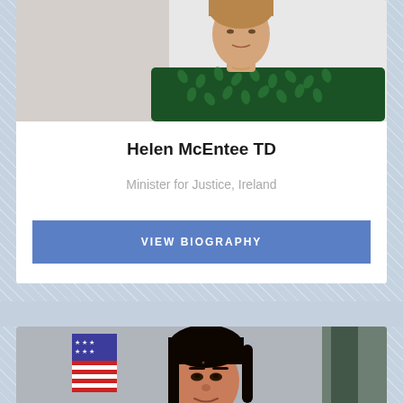[Figure (photo): Portrait photo of Helen McEntee TD, partially visible at top, wearing a dark green patterned top]
Helen McEntee TD
Minister for Justice, Ireland
VIEW BIOGRAPHY
[Figure (photo): Portrait photo of a woman with dark hair, wearing a dark jacket, with an American flag visible in the background]